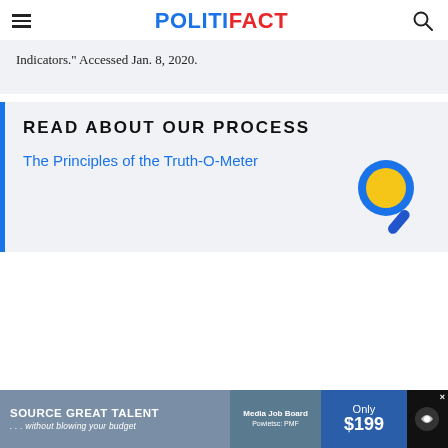POLITIFACT
Indicators." Accessed Jan. 8, 2020.
READ ABOUT OUR PROCESS
The Principles of the Truth-O-Meter
[Figure (illustration): Magnifying glass icon with blue ring and yellow/gold lens]
[Figure (infographic): Advertisement banner: SOURCE GREAT TALENT ...without blowing your budget / Media Job Board / Only $199]